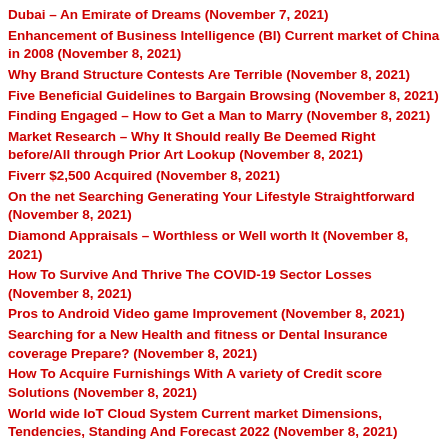Dubai – An Emirate of Dreams (November 7, 2021)
Enhancement of Business Intelligence (BI) Current market of China in 2008 (November 8, 2021)
Why Brand Structure Contests Are Terrible (November 8, 2021)
Five Beneficial Guidelines to Bargain Browsing (November 8, 2021)
Finding Engaged – How to Get a Man to Marry (November 8, 2021)
Market Research – Why It Should really Be Deemed Right before/All through Prior Art Lookup (November 8, 2021)
Fiverr $2,500 Acquired (November 8, 2021)
On the net Searching Generating Your Lifestyle Straightforward (November 8, 2021)
Diamond Appraisals – Worthless or Well worth It (November 8, 2021)
How To Survive And Thrive The COVID-19 Sector Losses (November 8, 2021)
Pros to Android Video game Improvement (November 8, 2021)
Searching for a New Health and fitness or Dental Insurance coverage Prepare? (November 8, 2021)
How To Acquire Furnishings With A variety of Credit score Solutions (November 8, 2021)
World wide IoT Cloud System Current market Dimensions, Tendencies, Standing And Forecast 2022 (November 8, 2021)
Discovering The Benefits And Down sides Of Ordering Foodstuff And Other Products Online (November 8, 2021)
Prime Benefits of Purchasing for Jewellery On the internet (November 8, 2021)